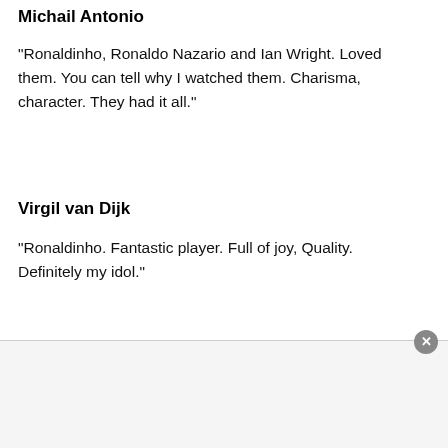Michail Antonio
“Ronaldinho, Ronaldo Nazario and Ian Wright. Loved them. You can tell why I watched them. Charisma, character. They had it all.”
Virgil van Dijk
“Ronaldinho. Fantastic player. Full of joy, Quality. Definitely my idol.”
[Figure (other): Advertisement bar at the bottom of the page with a close (X) button in the upper right corner]